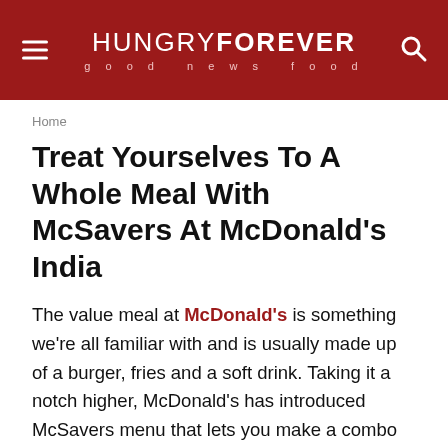HUNGRY FOREVER good news food
Home
Treat Yourselves To A Whole Meal With McSavers At McDonald's India
The value meal at McDonald's is something we're all familiar with and is usually made up of a burger, fries and a soft drink. Taking it a notch higher, McDonald's has introduced McSavers menu that lets you make a combo with a burger or wrap and a beverage or a side dish or any other combination with desserts too. Plus, these start at Rs.65 for a meal that fills you up and is easy on the pocket too.
Improvements At McDonald's